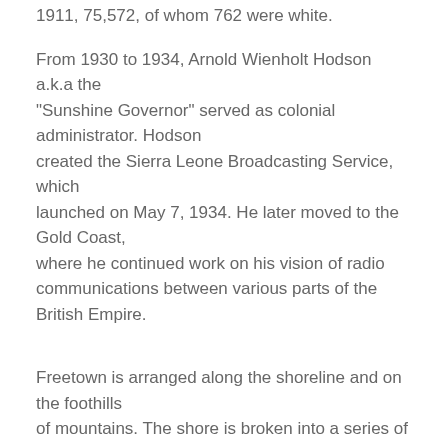1911, 75,572, of whom 762 were white.
From 1930 to 1934, Arnold Wienholt Hodson a.k.a the "Sunshine Governor" served as colonial administrator. Hodson created the Sierra Leone Broadcasting Service, which launched on May 7, 1934. He later moved to the Gold Coast, where he continued work on his vision of radio communications between various parts of the British Empire.
Freetown is arranged along the shoreline and on the foothills of mountains. The shore is broken into a series of little bays, with hills soaring one above another.
Inland, and to the west, is intersected by the waters of the Port Loko and Rokel rivers.
Gustavus was born in Rokel Village on the banks of Rokel Creek surrounded by dense forest, plantations and large areas of swamp.